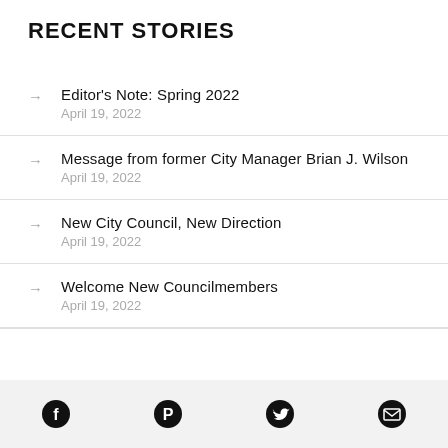RECENT STORIES
Editor's Note: Spring 2022
April 19, 2022
Message from former City Manager Brian J. Wilson
April 19, 2022
New City Council, New Direction
April 19, 2022
Welcome New Councilmembers
April 19, 2022
Facebook Pinterest Twitter Email